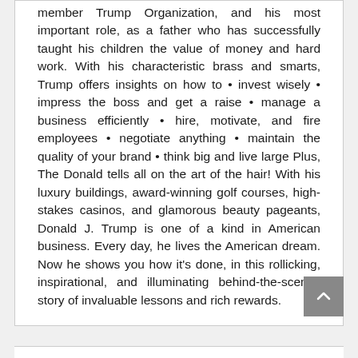member Trump Organization, and his most important role, as a father who has successfully taught his children the value of money and hard work. With his characteristic brass and smarts, Trump offers insights on how to • invest wisely • impress the boss and get a raise • manage a business efficiently • hire, motivate, and fire employees • negotiate anything • maintain the quality of your brand • think big and live large Plus, The Donald tells all on the art of the hair! With his luxury buildings, award-winning golf courses, high-stakes casinos, and glamorous beauty pageants, Donald J. Trump is one of a kind in American business. Every day, he lives the American dream. Now he shows you how it's done, in this rollicking, inspirational, and illuminating behind-the-scenes story of invaluable lessons and rich rewards.